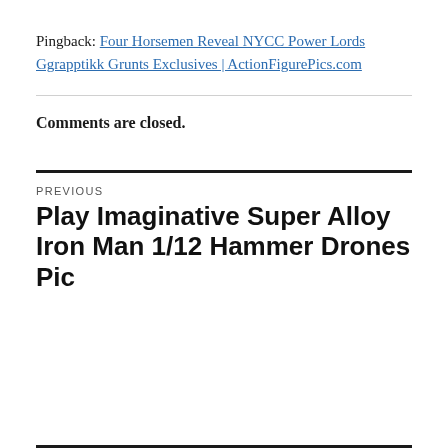Pingback: Four Horsemen Reveal NYCC Power Lords Ggrapptikk Grunts Exclusives | ActionFigurePics.com
Comments are closed.
PREVIOUS
Play Imaginative Super Alloy Iron Man 1/12 Hammer Drones Pic